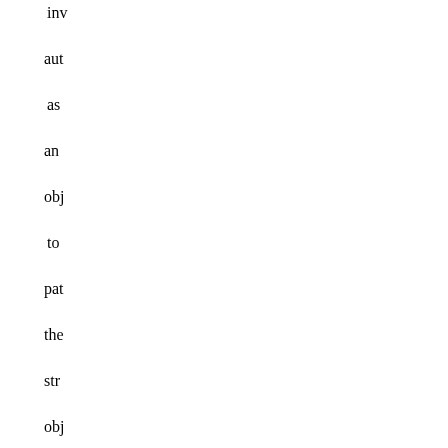invo auto as an obje to pate the stro obje are wel in cha Off acti may fail to resp hete ... "